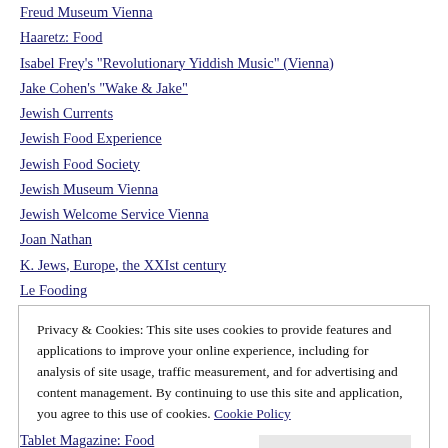Freud Museum Vienna
Haaretz: Food
Isabel Frey's "Revolutionary Yiddish Music" (Vienna)
Jake Cohen's "Wake & Jake"
Jewish Currents
Jewish Food Experience
Jewish Food Society
Jewish Museum Vienna
Jewish Welcome Service Vienna
Joan Nathan
K. Jews, Europe, the XXIst century
Le Fooding
Lilith: Independent, Jewish & Frankly Feminist
Mahlzeit! (Leo Baeck Institute)
Mark Bittman
Privacy & Cookies: This site uses cookies to provide features and applications to improve your online experience, including for analysis of site usage, traffic measurement, and for advertising and content management. By continuing to use this site and application, you agree to this use of cookies. Cookie Policy
Close and accept
Tablet Magazine: Food